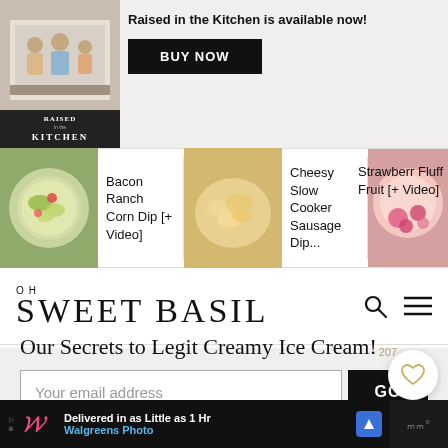[Figure (screenshot): Book cover ad for 'Raised in the Kitchen' with photo of family and buy now button]
Raised in the Kitchen is available now!
BUY NOW
[Figure (photo): Bacon Ranch Corn Dip food photo]
Bacon Ranch Corn Dip [+ Video]
[Figure (photo): Cheesy Slow Cooker Sausage Dip food photo]
Cheesy Slow Cooker Sausage Dip...
[Figure (photo): Strawberry Fluff Fruit [+ Video] food photo]
Strawberr Fluff Fruit [+ Video]
OH SWEET BASIL
Our Secrets to Legit Creamy Ice Cream!
207
Your email address
GO
[Figure (screenshot): Walgreens ad - Delivered in as Little as 1 Hr - Walgreens Photo]
Delivered in as Little as 1 Hr
Walgreens Photo